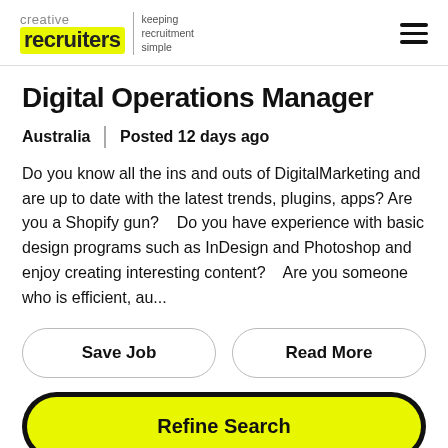creative recruiters | keeping recruitment simple
Digital Operations Manager
Australia   Posted 12 days ago
Do you know all the ins and outs of DigitalMarketing and are up to date with the latest trends, plugins, apps?  Are you a Shopify gun?    Do you have experience with basic design programs such as InDesign and Photoshop and enjoy creating interesting content?    Are you someone who is efficient, au...
Save Job
Read More
Refine Search